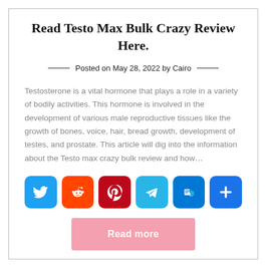Read Testo Max Bulk Crazy Review Here.
Posted on May 28, 2022 by Cairo
Testosterone is a vital hormone that plays a role in a variety of bodily activities. This hormone is involved in the development of various male reproductive tissues like the growth of bones, voice, hair, bread growth, development of testes, and prostate. This article will dig into the information about the Testo max crazy bulk review and how...
[Figure (other): Social share buttons row: Twitter (blue), Reddit (orange), Pinterest (dark red), Telegram (light blue), Outlook (blue), More/Plus (blue)]
Read more